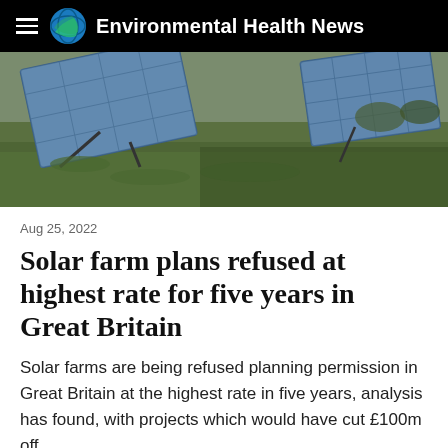Environmental Health News
[Figure (photo): Outdoor solar farm panels mounted on green grassy landscape, tilted at an angle, with countryside in background.]
Aug 25, 2022
Solar farm plans refused at highest rate for five years in Great Britain
Solar farms are being refused planning permission in Great Britain at the highest rate in five years, analysis has found, with projects which would have cut £100m off